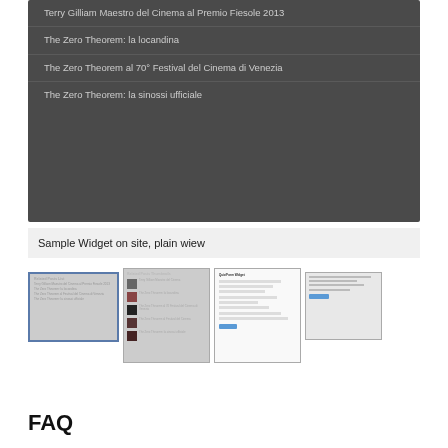[Figure (screenshot): Dark-themed WordPress widget panel showing a list of related articles about Terry Gilliam and The Zero Theorem film]
Terry Gilliam Maestro del Cinema al Premio Fiesole 2013
The Zero Theorem: la locandina
The Zero Theorem al 70° Festival del Cinema di Venezia
The Zero Theorem: la sinossi ufficiale
Sample Widget on site, plain wiew
[Figure (screenshot): Four screenshots showing the widget in different views: dark widget list, widget with thumbnails, form/survey view, and settings panel]
FAQ